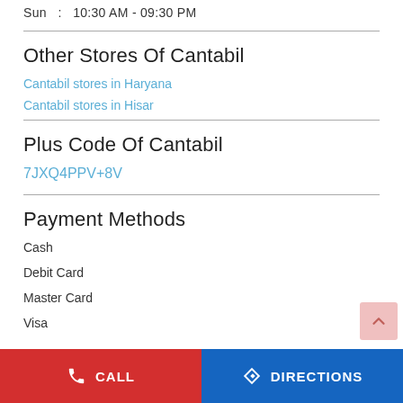Sun  :  10:30 AM - 09:30 PM
Other Stores Of Cantabil
Cantabil stores in Haryana
Cantabil stores in Hisar
Plus Code Of Cantabil
7JXQ4PPV+8V
Payment Methods
Cash
Debit Card
Master Card
Visa
CALL   DIRECTIONS